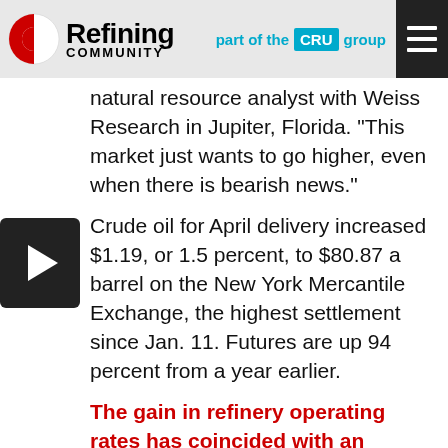Refining Community — part of the CRU group
natural resource analyst with Weiss Research in Jupiter, Florida. “This market just wants to go higher, even when there is bearish news.”
Crude oil for April delivery increased $1.19, or 1.5 percent, to $80.87 a barrel on the New York Mercantile Exchange, the highest settlement since Jan. 11. Futures are up 94 percent from a year earlier.
The gain in refinery operating rates has coincided with an